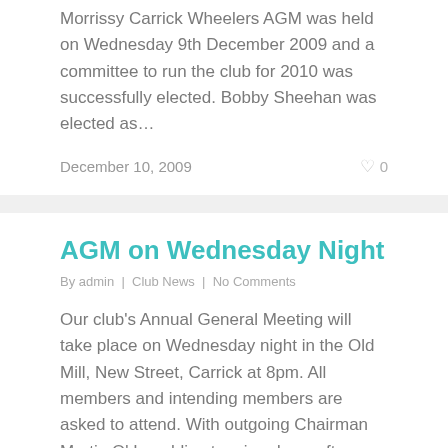Morrissy Carrick Wheelers AGM was held on Wednesday 9th December 2009 and a committee to run the club for 2010 was successfully elected.  Bobby Sheehan was elected as…
December 10, 2009   ♡ 0
AGM on Wednesday Night
By admin | Club News | No Comments
Our club's Annual General Meeting will take place on Wednesday night in the Old Mill, New Street, Carrick at 8pm. All members and intending members are asked to attend. With outgoing Chairman Martin O' Loughlin stepping down after a number of years in the position, it promises to be an interesting meeting. See you there!